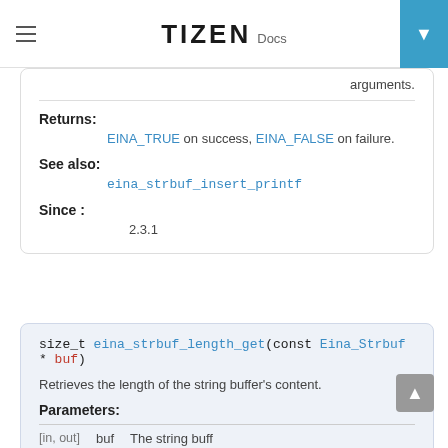TIZEN Docs
arguments.
Returns:
EINA_TRUE on success, EINA_FALSE on failure.
See also:
eina_strbuf_insert_printf
Since :
2.3.1
size_t eina_strbuf_length_get(const Eina_Strbuf * buf)
Retrieves the length of the string buffer's content.
Parameters:
[in, out]    buf    The string buffer